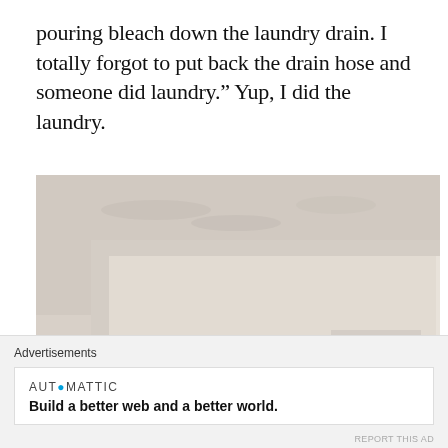pouring bleach down the laundry drain. I totally forgot to put back the drain hose and someone did laundry.” Yup, I did the laundry.
[Figure (photo): Indoor photo showing a corner where textured white/beige wall meets a door frame or cabinet opening, with a recessed dark opening visible at bottom center. The wall has a rough stucco-like texture. Some faint print visible on the smooth wall panel at right.]
Advertisements
AUTOMATTIC
Build a better web and a better world.